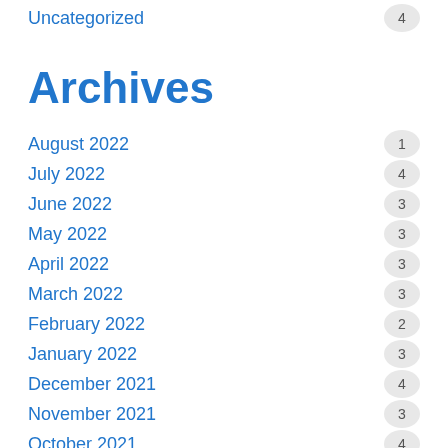Uncategorized  4
Archives
August 2022  1
July 2022  4
June 2022  3
May 2022  3
April 2022  3
March 2022  3
February 2022  2
January 2022  3
December 2021  4
November 2021  3
October 2021  4
September 2021  2
August 2021  2
July 2021  1